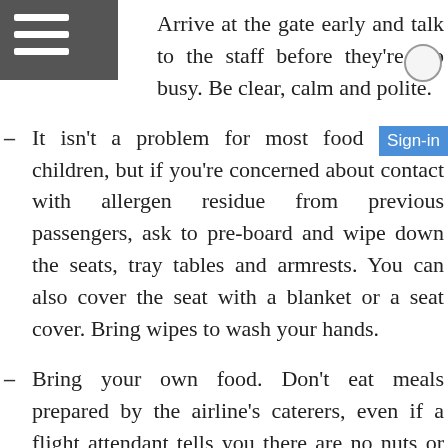Arrive at the gate early and talk to the staff before they're too busy. Be clear, calm and polite.
It isn't a problem for most food allergic children, but if you're concerned about contact with allergen residue from previous passengers, ask to pre-board and wipe down the seats, tray tables and armrests. You can also cover the seat with a blanket or a seat cover. Bring wipes to wash your hands.
Bring your own food. Don't eat meals prepared by the airline's caterers, even if a flight attendant tells you there are no nuts or other allergens. You don't know if there has been cross-contamination in the preparation. Bring extra food in case of delays.
Keep medication with you; do not store it in the overhead bin.
If someone near you is eating a food that is dangerous to